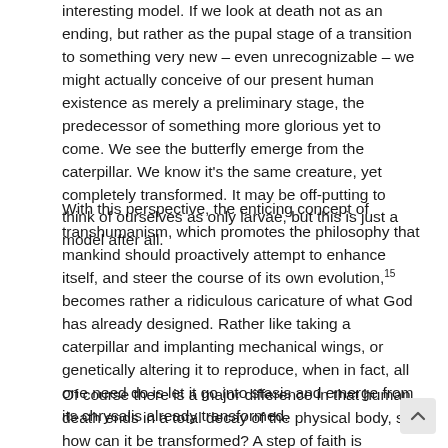interesting model. If we look at death not as an ending, but rather as the pupal stage of a transition to something very new – even unrecognizable – we might actually conceive of our present human existence as merely a preliminary stage, the predecessor of something more glorious yet to come. We see the butterfly emerge from the caterpillar. We know it's the same creature, yet completely transformed. It may be off-putting to think of ourselves as only larvae, but this is just a model after all.
With this perspective, the enticing concept of transhumanism, which promotes the philosophy that mankind should proactively attempt to enhance itself, and steer the course of its own evolution,15 becomes rather a ridiculous caricature of what God has already designed. Rather like taking a caterpillar and implanting mechanical wings, or genetically altering it to reproduce, when in fact, all one need do is let it go into stasis and emerge from its chrysalis already transformed.
Of course there is a major difference in that human death ends in a total decay of the physical body, so how can it be transformed? A step of faith is